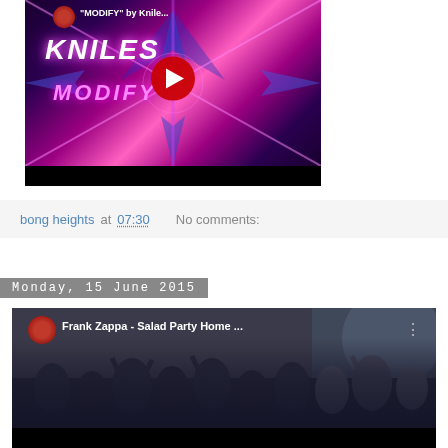[Figure (screenshot): YouTube video thumbnail for 'MODIFY' by Kniles - dark purple/pink star burst background with KNILES MODIFY text and red play button]
bong heights at 07:30    No comments:
Monday, 15 June 2015
[Figure (screenshot): YouTube video thumbnail for 'Frank Zappa - Salad Party Home ...' showing a crowd scene]